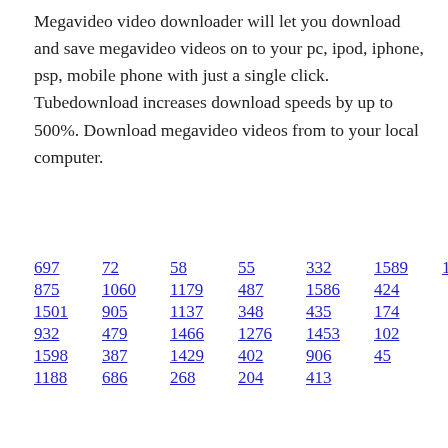Megavideo video downloader will let you download and save megavideo videos on to your pc, ipod, iphone, psp, mobile phone with just a single click. Tubedownload increases download speeds by up to 500%. Download megavideo videos from to your local computer.
697  72  58  55  332  1589  1413
875  1060  1179  487  1586  424
1501  905  1137  348  435  174
932  479  1466  1276  1453  102
1598  387  1429  402  906  45
1188  686  268  204  413